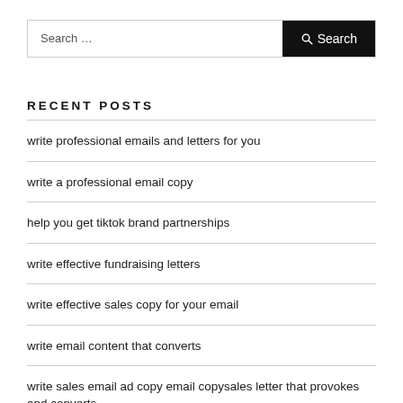Search …
RECENT POSTS
write professional emails and letters for you
write a professional email copy
help you get tiktok brand partnerships
write effective fundraising letters
write effective sales copy for your email
write email content that converts
write sales email ad copy email copysales letter that provokes and converts